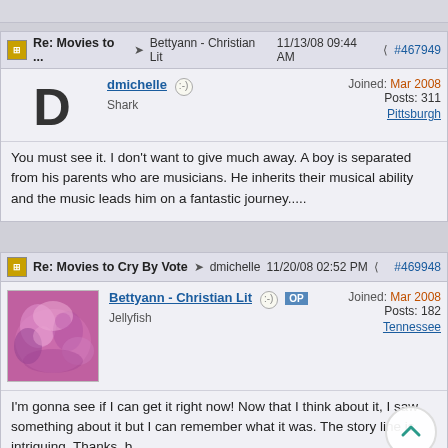Re: Movies to ... Bettyann - Christian Lit 11/13/08 09:44 AM #467949
dmichelle
Shark
Joined: Mar 2008
Posts: 311
Pittsburgh
You must see it. I don't want to give much away. A boy is separated from his parents who are musicians. He inherits their musical ability and the music leads him on a fantastic journey.....
Re: Movies to Cry By Vote dmichelle 11/20/08 02:52 PM #469948
Bettyann - Christian Lit OP
Jellyfish
Joined: Mar 2008
Posts: 182
Tennessee
I'm gonna see if I can get it right now! Now that I think about it, I saw something about it but I can remember what it was. The story line is intriguing. Thanks. b.